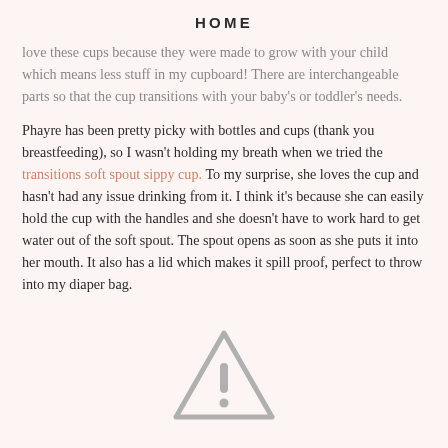HOME
love these cups because they were made to grow with your child which means less stuff in my cupboard!  There are interchangeable parts so that the cup transitions with your baby's or toddler's needs.
Phayre has been pretty picky with bottles and cups (thank you breastfeeding), so I wasn't holding my breath when we tried the transitions soft spout sippy cup.  To my surprise, she loves the cup and hasn't had any issue drinking from it.  I think it's because she can easily hold the cup with the handles and she doesn't have to work hard to get water out of the soft spout.  The spout opens as soon as she puts it into her mouth.  It also has a lid which makes it spill proof, perfect to throw into my diaper bag.
[Figure (illustration): A grey warning/caution triangle icon with an exclamation mark inside it.]